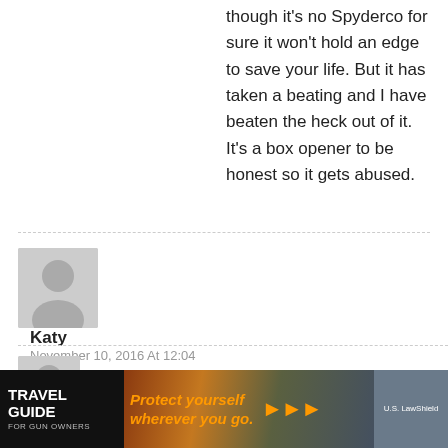though it's no Spyderco for sure it won't hold an edge to save your life. But it has taken a beating and I have beaten the heck out of it. It's a box opener to be honest so it gets abused.
Katy
November 10, 2016 At 12:04
Which is what it looks like they are doing. Limit S&W to their firearms, let everything else bounce off a more generic corporate parent.
Reply
dph
November 10, 2016 At 10:16
Does any one think the people who run S&W ...they'll do ...hether it by
[Figure (infographic): Travel Guide For Gun Owners advertisement banner with tagline 'Protect yourself wherever you go.' and US LawShield branding]